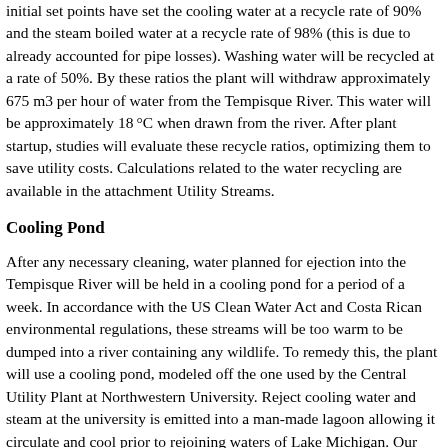initial set points have set the cooling water at a recycle rate of 90% and the steam boiled water at a recycle rate of 98% (this is due to already accounted for pipe losses). Washing water will be recycled at a rate of 50%. By these ratios the plant will withdraw approximately 675 m3 per hour of water from the Tempisque River. This water will be approximately 18°C when drawn from the river. After plant startup, studies will evaluate these recycle ratios, optimizing them to save utility costs. Calculations related to the water recycling are available in the attachment Utility Streams.
Cooling Pond
After any necessary cleaning, water planned for ejection into the Tempisque River will be held in a cooling pond for a period of a week. In accordance with the US Clean Water Act and Costa Rican environmental regulations, these streams will be too warm to be dumped into a river containing any wildlife. To remedy this, the plant will use a cooling pond, modeled off the one used by the Central Utility Plant at Northwestern University. Reject cooling water and steam at the university is emitted into a man-made lagoon allowing it circulate and cool prior to rejoining waters of Lake Michigan. Our plant will use a 150,000 m3 cooling pond, allowing the reject water to cool to ambient air temperature before returning it to the river. This